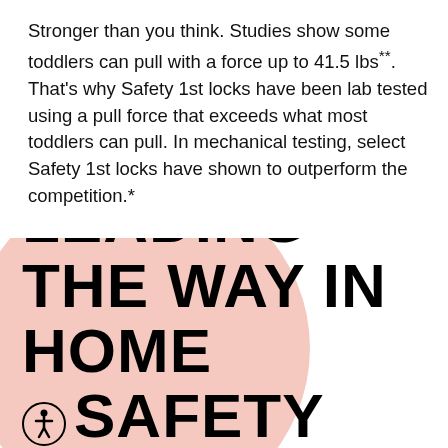Stronger than you think. Studies show some toddlers can pull with a force up to 41.5 lbs**. That's why Safety 1st locks have been lab tested using a pull force that exceeds what most toddlers can pull. In mechanical testing, select Safety 1st locks have shown to outperform the competition.*
LEADING THE WAY IN HOME SAFETY